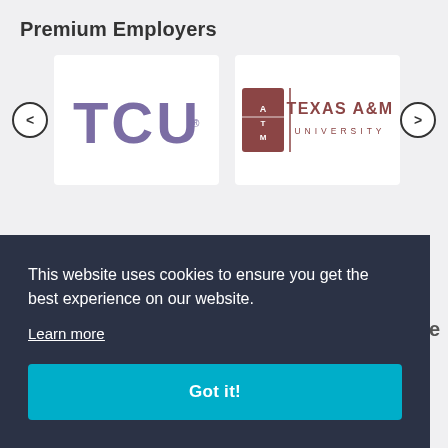Premium Employers
[Figure (logo): TCU (Texas Christian University) logo in purple/violet letters]
[Figure (logo): Texas A&M University logo with ATM shield icon and text]
[Figure (screenshot): Cookie consent banner overlay with dark navy background. Text: 'This website uses cookies to ensure you get the best experience on our website.' with 'Learn more' underlined link and 'Got it!' teal button.]